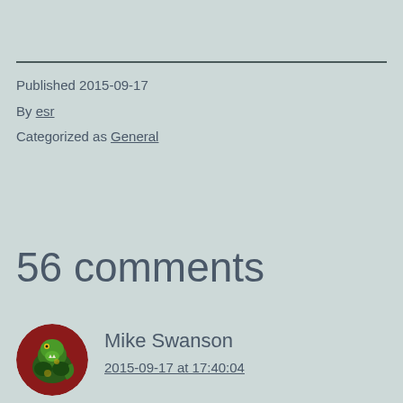Published 2015-09-17
By esr
Categorized as General
56 comments
Mike Swanson
2015-09-17 at 17:40:04